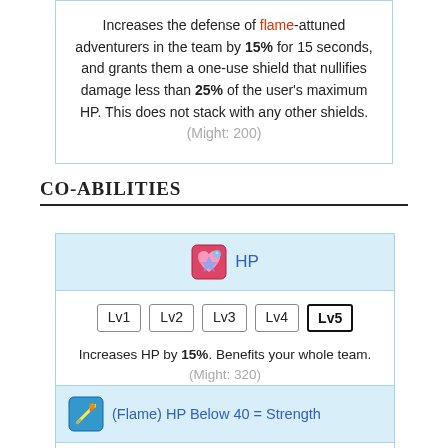Increases the defense of flame-attuned adventurers in the team by 15% for 15 seconds, and grants them a one-use shield that nullifies damage less than 25% of the user's maximum HP. This does not stack with any other shields. (Might: 200)
Co-abilities
[Figure (illustration): HP co-ability card with heart icon and level buttons Lv1 Lv2 Lv3 Lv4 Lv5 (Lv5 active)]
Increases HP by 15%. Benefits your whole team. (Might: 320)
[Figure (illustration): (Flame) HP Below 40 = Strength co-ability card with flame sword icon and level buttons Lv1 Lv2 Lv3 Lv4 Lv5 (Lv5 active)]